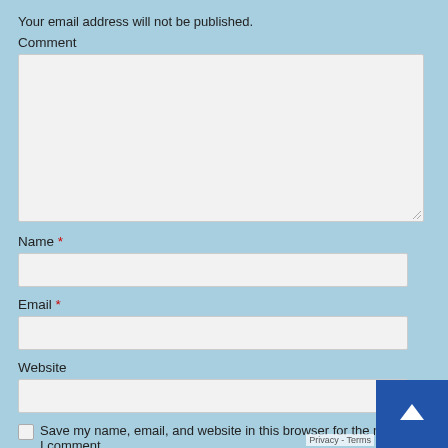Your email address will not be published.
Comment
[Figure (screenshot): Comment text area input field (large, resizable)]
Name *
[Figure (screenshot): Name text input field]
Email *
[Figure (screenshot): Email text input field]
Website
[Figure (screenshot): Website text input field]
Save my name, email, and website in this browser for the next time I comment.
Notify me of follow-up comments by email.